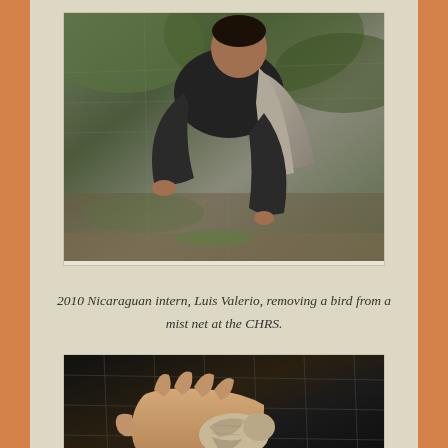[Figure (photo): A young man with dark short hair wearing a dark jacket and light gray vest, bending over and working with his hands, appearing to remove a bird from a mist net in an outdoor wooded setting.]
2010 Nicaraguan intern, Luis Valerio, removing a bird from a mist net at the CHRS.
[Figure (photo): Close-up of a hand holding a small bird against a mist net background with dark netting visible.]